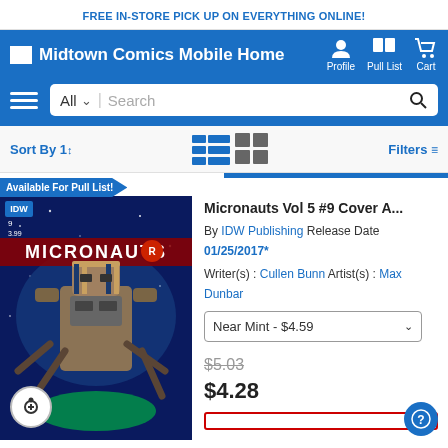FREE IN-STORE PICK UP ON EVERYTHING ONLINE!
[Figure (screenshot): Midtown Comics mobile website navigation header with logo, Profile, Pull List, Cart icons, search bar with All dropdown, hamburger menu]
Sort By  Filters
Available For Pull List!
[Figure (photo): Comic book cover: Micronauts Vol 5 #9, IDW Publishing, featuring a robotic/mummy figure in space]
Micronauts Vol 5 #9 Cover A...
By IDW Publishing Release Date 01/25/2017*
Writer(s): Cullen Bunn  Artist(s): Max Dunbar
Near Mint - $4.59
$5.03
$4.28